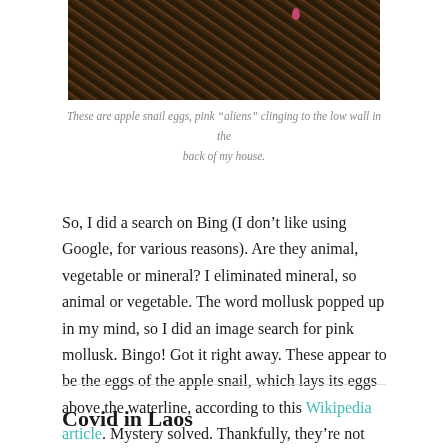[Figure (photo): A close-up photo of a dark tangle of dried twigs and branches with pink apple snail eggs visible at the upper right area.]
These are apple snail eggs, pink “aliens” clinging to the low wall in the back of my house.
So, I did a search on Bing (I don’t like using Google, for various reasons). Are they animal, vegetable or mineral? I eliminated mineral, so animal or vegetable. The word mollusk popped up in my mind, so I did an image search for pink mollusk. Bingo! Got it right away. These appear to be the eggs of the apple snail, which lays its eggs above the waterline, according to this Wikipedia article. Mystery solved. Thankfully, they’re not space invaders.
Covid in Laos